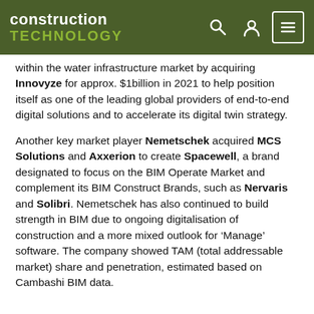construction TECHNOLOGY
within the water infrastructure market by acquiring Innovyze for approx. $1billion in 2021 to help position itself as one of the leading global providers of end-to-end digital solutions and to accelerate its digital twin strategy.
Another key market player Nemetschek acquired MCS Solutions and Axxerion to create Spacewell, a brand designated to focus on the BIM Operate Market and complement its BIM Construct Brands, such as Nervaris and Solibri. Nemetschek has also continued to build strength in BIM due to ongoing digitalisation of construction and a more mixed outlook for ‘Manage’ software. The company showed TAM (total addressable market) share and penetration, estimated based on Cambashi BIM data.